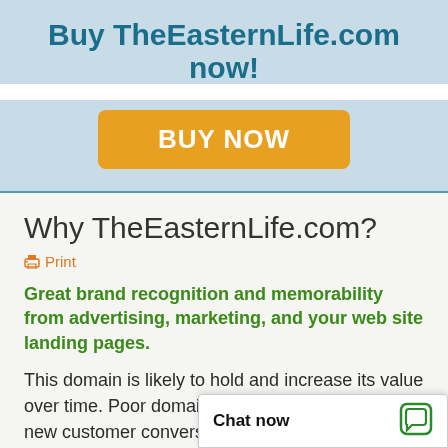Buy TheEasternLife.com now!
[Figure (other): Orange BUY NOW button]
Why TheEasternLife.com?
Print
Great brand recognition and memorability from advertising, marketing, and your web site landing pages.
This domain is likely to hold and increase its value over time. Poor domain names lose traffic and new customer conversions to better domain named companies, Microso... "domain bias in web...
Chat now